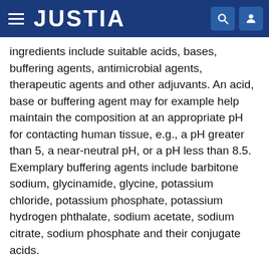JUSTIA
ingredients include suitable acids, bases, buffering agents, antimicrobial agents, therapeutic agents and other adjuvants. An acid, base or buffering agent may for example help maintain the composition at an appropriate pH for contacting human tissue, e.g., a pH greater than 5, a near-neutral pH, or a pH less than 8.5. Exemplary buffering agents include barbitone sodium, glycinamide, glycine, potassium chloride, potassium phosphate, potassium hydrogen phthalate, sodium acetate, sodium citrate, sodium phosphate and their conjugate acids.
The disclosed compositions desirably are inherently antimicrobial without requiring addition of a separate antimicrobial agent. Antimicrobial activity may be influenced by the proportion of chitosan in the composition (with higher chitosan proportions tending